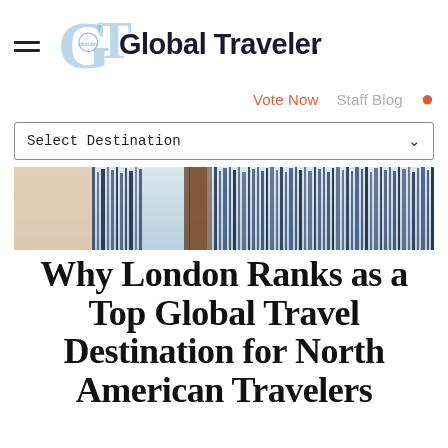Global Traveler
Vote Now  Staff Blog
Select Destination
[Figure (photo): Abstract blurred cityscape photo used as hero image, showing tall structures with motion blur in blue, brown and orange tones]
Why London Ranks as a Top Global Travel Destination for North American Travelers